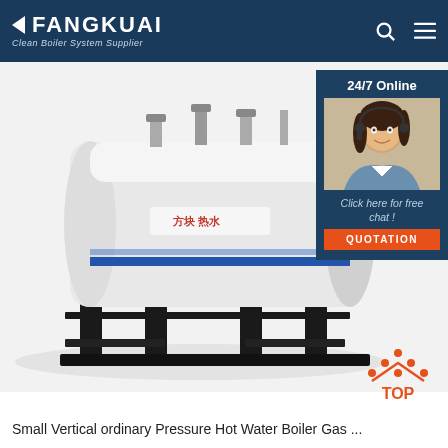FANGKUAI - Clean Boiler System Supplier
[Figure (photo): Large horizontal hot water boiler unit (white cylindrical tank on black steel frame supports) with blue stripe and Fangkuai branding. Pipes and fittings visible on top. Overlaid with a 24/7 Online chat widget featuring a woman with headset and a QUOTATION button.]
[Figure (other): TOP navigation button with orange dot pattern arrow icon]
Small Vertical ordinary Pressure Hot Water Boiler Gas ...